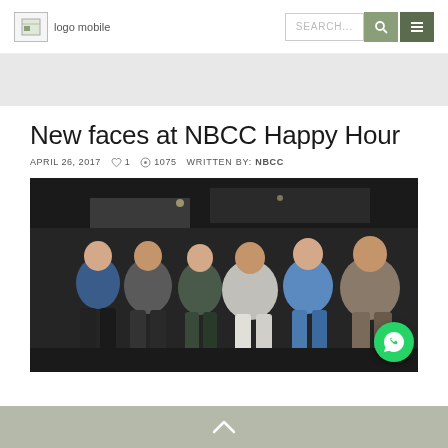logo mobile | SEARCH... [search button] [menu button]
[Figure (other): Gray banner/advertisement area below header]
New faces at NBCC Happy Hour
APRIL 26, 2017   ♡ 1   © 1075   WRITTEN BY: NBCC
[Figure (photo): Group photo of six men posing together at an evening event under a tent, with a WhatsApp icon overlay in the bottom right corner]
^